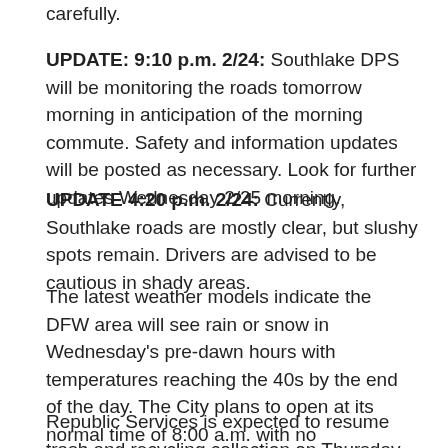carefully.
UPDATE:  9:10 p.m. 2/24:  Southlake DPS will be monitoring the roads tomorrow morning in anticipation of the morning commute.  Safety and information updates will be posted as necessary.  Look for further updates Wednesday 2/25 morning.
UPDATE 4:20 p.m. 2/24: Currently, Southlake roads are mostly clear, but slushy spots remain.   Drivers are advised to be cautious in shady areas.
The latest weather models indicate the DFW area will see rain or snow in Wednesday's pre-dawn hours with temperatures reaching the 40s by the end of the day.  The City plans to open at its normal time of 8:00 a.m. with no cancellations anticipated.
Republic Services is expected to resume trash and recycling collection  on Thursday (2/25). Missed